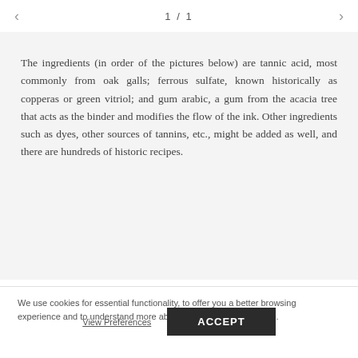1 / 1
The ingredients (in order of the pictures below) are tannic acid, most commonly from oak galls; ferrous sulfate, known historically as copperas or green vitriol; and gum arabic, a gum from the acacia tree that acts as the binder and modifies the flow of the ink. Other ingredients such as dyes, other sources of tannins, etc., might be added as well, and there are hundreds of historic recipes.
We use cookies for essential functionality, to offer you a better browsing experience and to understand more about how people use our site.
View Preferences
ACCEPT